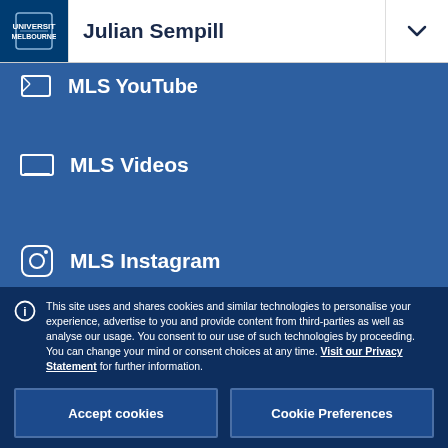Julian Sempill
MLS YouTube
MLS Videos
MLS Instagram
This site uses and shares cookies and similar technologies to personalise your experience, advertise to you and provide content from third-parties as well as analyse our usage. You consent to our use of such technologies by proceeding. You can change your mind or consent choices at any time. Visit our Privacy Statement for further information.
Accept cookies
Cookie Preferences